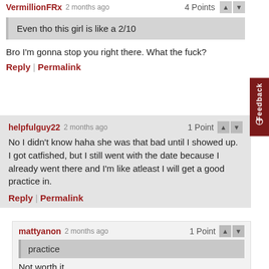VermillionFRx 2 months ago   4 Points
Even tho this girl is like a 2/10
Bro I'm gonna stop you right there. What the fuck?
Reply | Permalink
helpfulguy22 2 months ago   1 Point
No I didn't know haha she was that bad until I showed up. I got catfished, but I still went with the date because I already went there and I'm like atleast I will get a good practice in.
Reply | Permalink
mattyanon 2 months ago   1 Point
practice
Not worth it.
You game low end girls by being nice to them